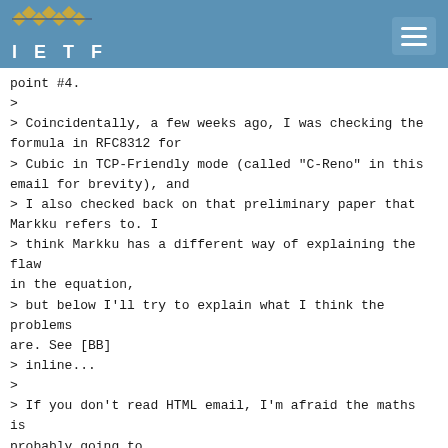IETF
point #4.
>
> Coincidentally, a few weeks ago, I was checking the formula in RFC8312 for
> Cubic in TCP-Friendly mode (called "C-Reno" in this email for brevity), and
> I also checked back on that preliminary paper that Markku refers to. I
> think Markku has a different way of explaining the flaw in the equation,
> but below I'll try to explain what I think the problems are. See [BB]
> inline...
>
> If you don't read HTML email, I'm afraid the maths is probably going to
> look like gobbledygook.
>
> On 30/08/2021 17:33, Markku Kojo wrote:
>
> Hi Yoshi, all,
>
> On Wed, 18 Aug 2021, Yoshifumi Nishida wrote:
>